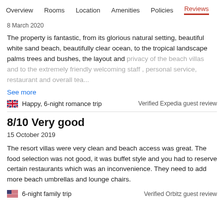Overview  Rooms  Location  Amenities  Policies  Reviews
8 March 2020
The property is fantastic, from its glorious natural setting, beautiful white sand beach, beautifully clear ocean, to the tropical landscape palms trees and bushes, the layout and privacy of the beach villas and to the extremely friendly welcoming staff , personal service, restaurant and overall tea...
See more
Happy, 6-night romance trip
Verified Expedia guest review
8/10 Very good
15 October 2019
The resort villas were very clean and beach access was great. The food selection was not good, it was buffet style and you had to reserve certain restaurants which was an inconvenience. They need to add more beach umbrellas and lounge chairs.
6-night family trip
Verified Orbitz guest review